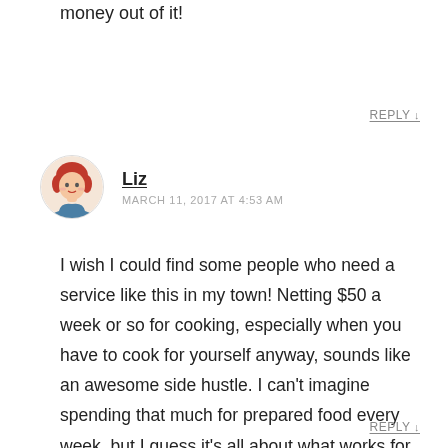those darn finances at work. Glad you could make money out of it!
REPLY ↓
[Figure (illustration): Circular avatar of a woman with red/auburn hair, illustrated style, used as commenter profile picture]
Liz
MARCH 11, 2017 AT 4:53 AM
I wish I could find some people who need a service like this in my town! Netting $50 a week or so for cooking, especially when you have to cook for yourself anyway, sounds like an awesome side hustle. I can't imagine spending that much for prepared food every week, but I guess it's all about what works for you!
REPLY ↓